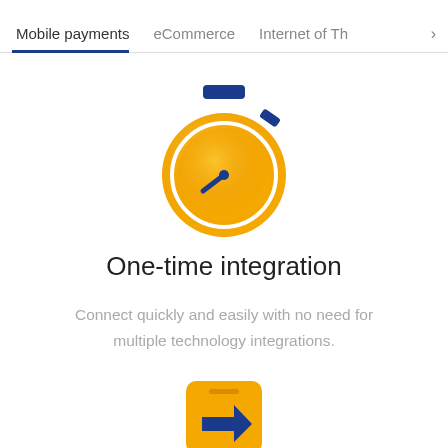Mobile payments   eCommerce   Internet of Th  >
[Figure (illustration): Stopwatch / timer icon: golden-orange circle with white inner ring, dark blue top button and side crown, and a clock hand pointing to ~7 o'clock position]
One-time integration
Connect quickly and easily with no need for multiple technology integrations.
[Figure (illustration): Partially visible mobile phone icon at the bottom: yellow/golden rectangle with a blue arrow pointing right, cut off at bottom of page]